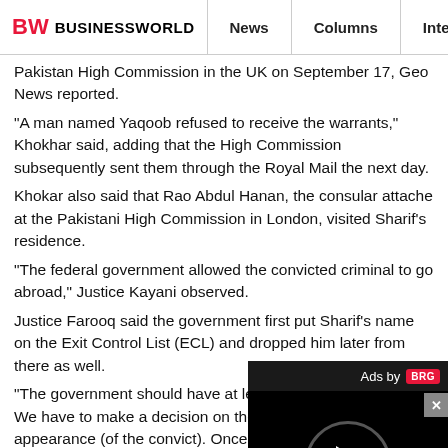BW BUSINESSWORLD | News | Columns | Interviews | BW
Pakistan High Commission in the UK on September 17, Geo News reported.
"A man named Yaqoob refused to receive the warrants," Khokhar said, adding that the High Commission subsequently sent them through the Royal Mail the next day.
Khokar also said that Rao Abdul Hanan, the consular attache at the Pakistani High Commission in London, visited Sharif's residence.
"The federal government allowed the convicted criminal to go abroad," Justice Kayani observed.
Justice Farooq said the government first put Sharif's name on the Exit Control List (ECL) and dropped him later from there as well.
"The government should have at least informed this court. We have to make a decision on the appeal and ensure the appearance (of the convict). Once inquiry is launched, the names of the suspects are added to the ECL... even then (the court) is not even informed, let alone asked permission from, about a convicted man being sent abroad," Justice Farooq said.
"We will not pass an order seeking the return of a convicted